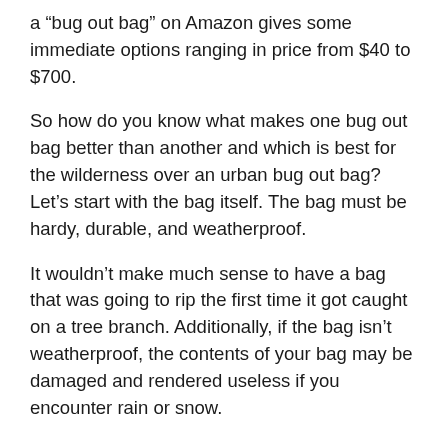a “bug out bag” on Amazon gives some immediate options ranging in price from $40 to $700.
So how do you know what makes one bug out bag better than another and which is best for the wilderness over an urban bug out bag? Let’s start with the bag itself. The bag must be hardy, durable, and weatherproof.
It wouldn’t make much sense to have a bag that was going to rip the first time it got caught on a tree branch. Additionally, if the bag isn’t weatherproof, the contents of your bag may be damaged and rendered useless if you encounter rain or snow.